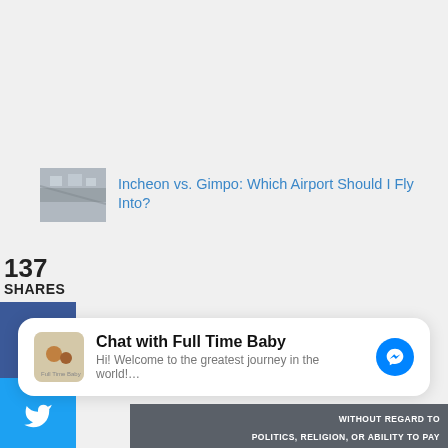[Figure (photo): Thumbnail image of an airport interior (Incheon or Gimpo airport)]
Incheon vs. Gimpo: Which Airport Should I Fly Into?
137
SHARES
[Figure (infographic): Social share sidebar with Facebook, Twitter, Pinterest, and Email buttons]
Chat with Full Time Baby
Hi! Welcome to the greatest journey in the world!…
[Figure (photo): Bottom strip showing an airport tarmac scene with text WITHOUT REGARD TO POLITICS, RELIGION, OR ABILITY TO PAY]